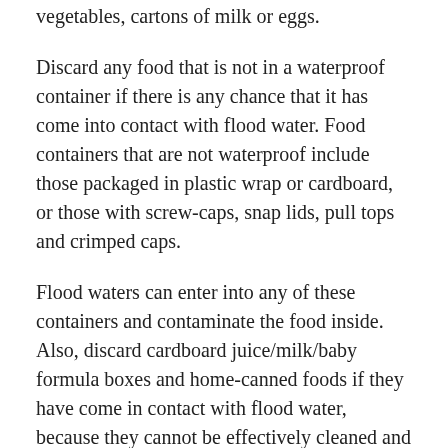vegetables, cartons of milk or eggs.
Discard any food that is not in a waterproof container if there is any chance that it has come into contact with flood water. Food containers that are not waterproof include those packaged in plastic wrap or cardboard, or those with screw-caps, snap lids, pull tops and crimped caps.
Flood waters can enter into any of these containers and contaminate the food inside. Also, discard cardboard juice/milk/baby formula boxes and home-canned foods if they have come in contact with flood water, because they cannot be effectively cleaned and sanitized.
Inspect canned foods and discard any food in damaged